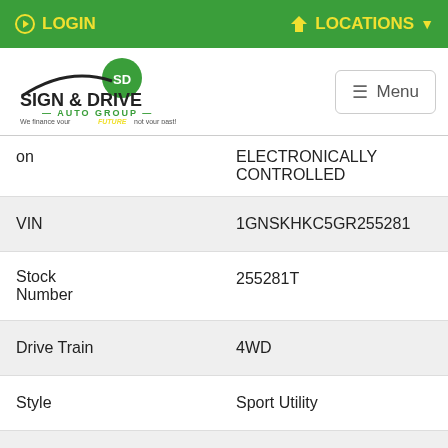LOGIN   LOCATIONS
[Figure (logo): Sign & Drive Auto Group logo with green circle and SD emblem, text 'SIGN & DRIVE AUTO GROUP - We finance your FUTURE not your past!']
| on | ELECTRONICALLY CONTROLLED |
| VIN | 1GNSKHKC5GR255281 |
| Stock Number | 255281T |
| Drive Train | 4WD |
| Style | Sport Utility |
| Today's Price | Call for Price |